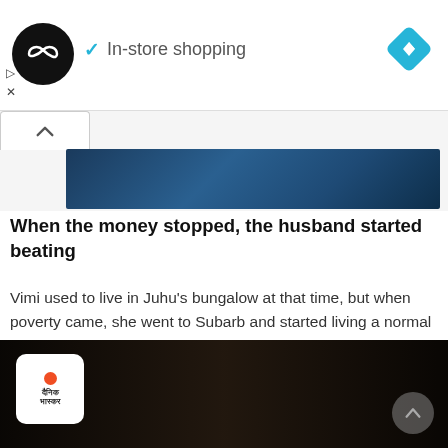[Figure (screenshot): Ad banner with circular black logo showing infinity-like icon, checkmark and 'In-store shopping' text, blue diamond navigation icon on right]
[Figure (screenshot): Dark blue gradient header image banner, partially visible below collapsed panel tab with up-caret]
When the money stopped, the husband started beating
Vimi used to live in Juhu’s bungalow at that time, but when poverty came, she went to Subarb and started living a normal life. When the period of financial crisis came, then husband Shiva became addicted to alcohol and started beating Vimi. Shiva used to pressurize Vimi to do minor work with small producers.
[Figure (screenshot): Bottom image showing dark background with Dainik Bhaskar logo (white rounded square with orange dot and Hindi text) on left, up-arrow chevron on right]